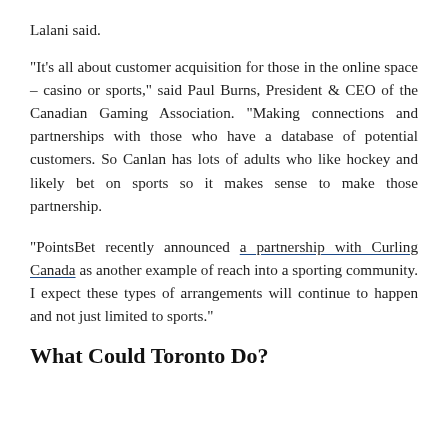Lalani said.
“It’s all about customer acquisition for those in the online space – casino or sports,” said Paul Burns, President & CEO of the Canadian Gaming Association. “Making connections and partnerships with those who have a database of potential customers. So Canlan has lots of adults who like hockey and likely bet on sports so it makes sense to make those partnership.
“PointsBet recently announced a partnership with Curling Canada as another example of reach into a sporting community. I expect these types of arrangements will continue to happen and not just limited to sports.”
What Could Toronto Do?